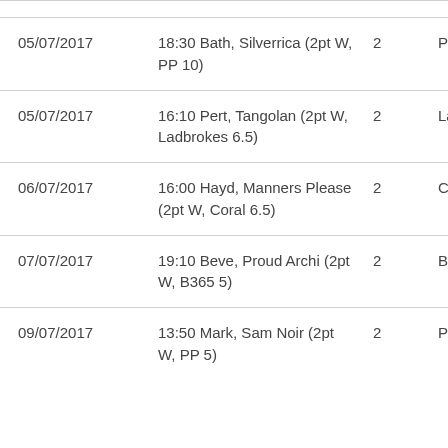| Date | Event | Pts | Bookmaker |
| --- | --- | --- | --- |
| 05/07/2017 | 18:30 Bath, Silverrica (2pt W, PP 10) | 2 | PP |
| 05/07/2017 | 16:10 Pert, Tangolan (2pt W, Ladbrokes 6.5) | 2 | Ladbrokes |
| 06/07/2017 | 16:00 Hayd, Manners Please (2pt W, Coral 6.5) | 2 | Coral |
| 07/07/2017 | 19:10 Beve, Proud Archi (2pt W, B365 5) | 2 | B365 |
| 09/07/2017 | 13:50 Mark, Sam Noir (2pt W, PP 5) | 2 | PP |